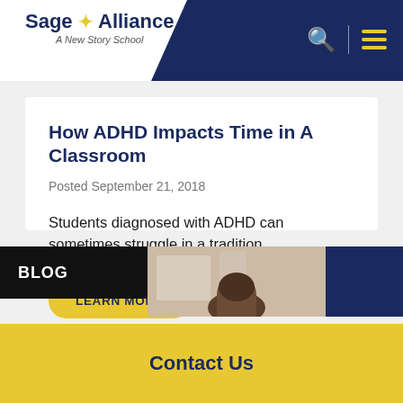Sage Alliance – A New Story School
How ADHD Impacts Time in A Classroom
Posted September 21, 2018
Students diagnosed with ADHD can sometimes struggle in a tradition…
LEARN MORE
BLOG
[Figure (photo): Photo of a student from behind in a classroom setting]
Contact Us